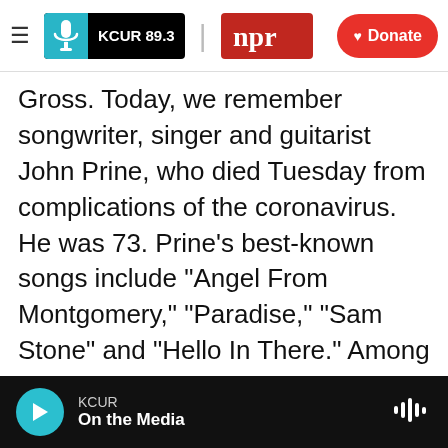KCUR 89.3 | npr | Donate
Gross. Today, we remember songwriter, singer and guitarist John Prine, who died Tuesday from complications of the coronavirus. He was 73. Prine's best-known songs include "Angel From Montgomery," "Paradise," "Sam Stone" and "Hello In There." Among the many people who recorded his songs are Johnny Cash, Bonnie Raitt and Bette Midler. In 2016, he was honored by the writers organization PEN for lyrics of literary excellence. Last year, he was inducted into the Songwriting Hall of Fame. Terry spoke to him in 2018 after the release of his album "The Tree Of Forgiveness," his first album of new songs in 13 years. He was
KCUR | On the Media